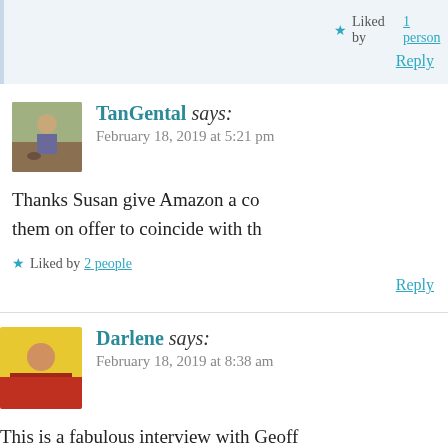Liked by 1 person
Reply
TanGental says:
February 18, 2019 at 5:21 pm
Thanks Susan give Amazon a co them on offer to coincide with th
Liked by 2 people
Reply
Darlene says:
February 18, 2019 at 8:38 am
This is a fabulous interview with Geoff smiles with you is the perfect code to l amazing writer.